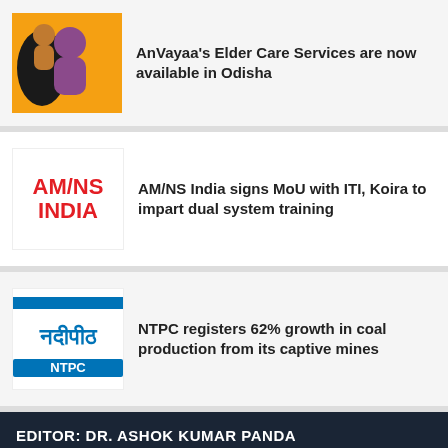[Figure (logo): AnVayaa Elder Care Services logo with orange background and illustrated figures]
AnVayaa's Elder Care Services are now available in Odisha
[Figure (logo): AM/NS India logo in red text on white background]
AM/NS India signs MoU with ITI, Koira to impart dual system training
[Figure (logo): NTPC logo with Hindi text and blue/white design]
NTPC registers 62% growth in coal production from its captive mines
EDITOR: DR. ASHOK KUMAR PANDA
CONSULTING EDITOR: RABI NARAYAN MAHAPATRA
INDIA WHISPERS